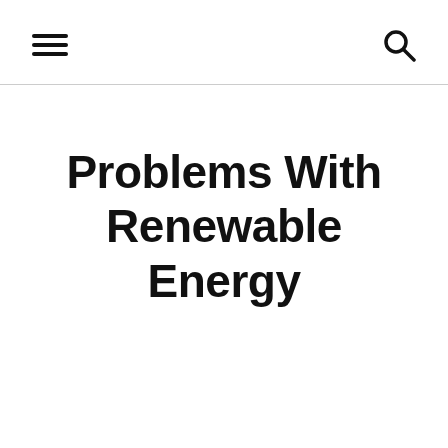[navigation header with hamburger menu and search icon]
Problems With Renewable Energy